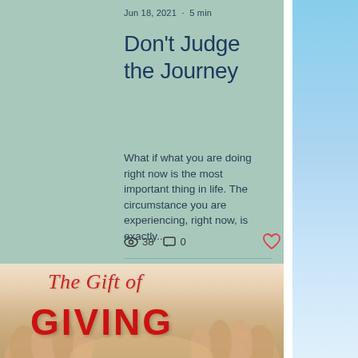Jun 18, 2021 · 5 min
Don't Judge the Journey
What if what you are doing right now is the most important thing in life. The circumstance you are experiencing, right now, is exactly...
38   0
[Figure (illustration): The Gift of Giving — script red italic text over bold red block letters, with hands cupped open in background]